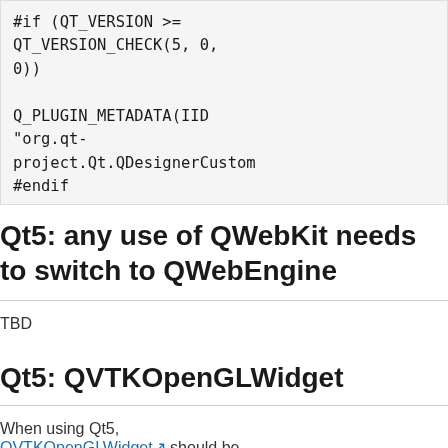[Figure (other): Code block showing C++ Qt preprocessor directives: #if (QT_VERSION >= QT_VERSION_CHECK(5, 0, 0)), Q_PLUGIN_METADATA(IID "org.qt-project.Qt.QDesignerCustom..."), #endif, Q_INTERFACES(QDesignerCust...]
Qt5: any use of QWebKit needs to switch to QWebEngine
TBD
Qt5: QVTKOpenGLWidget
When using Qt5, QVTKOpenGLWidget should be